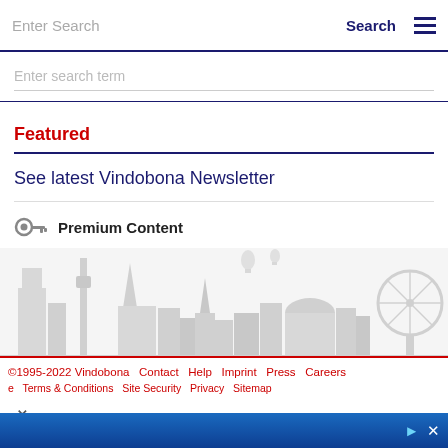Enter Search   Search  ☰
Enter search term
Featured
See latest Vindobona Newsletter
🔑 Premium Content
[Figure (illustration): Vienna city skyline silhouette in light grey, showing Danube Tower, St. Stephen's Cathedral spire, Ferris wheel (Prater Riesenrad), and other landmarks with hot air balloons in background]
©1995-2022 Vindobona   Contact   Help   Imprint   Press   Careers   Terms & Conditions   Site Security   Privacy   Sitemap